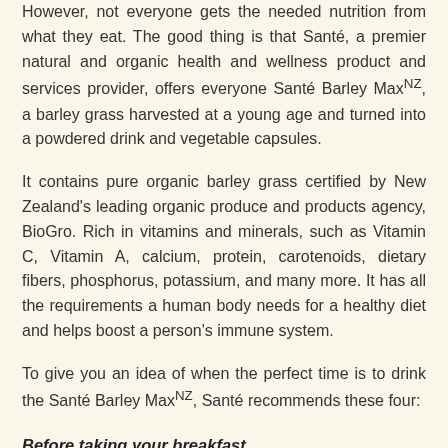However, not everyone gets the needed nutrition from what they eat. The good thing is that Santé, a premier natural and organic health and wellness product and services provider, offers everyone Santé Barley MaxNZ, a barley grass harvested at a young age and turned into a powdered drink and vegetable capsules.
It contains pure organic barley grass certified by New Zealand's leading organic produce and products agency, BioGro. Rich in vitamins and minerals, such as Vitamin C, Vitamin A, calcium, protein, carotenoids, dietary fibers, phosphorus, potassium, and many more. It has all the requirements a human body needs for a healthy diet and helps boost a person's immune system.
To give you an idea of when the perfect time is to drink the Santé Barley MaxNZ, Santé recommends these four:
Before taking your breakfast
You can safely drink the Santé Barley MaxNZ powdered drink or capsule any time of the day. However, the best time to have a glass of this vitamin-rich supplement is before eating your